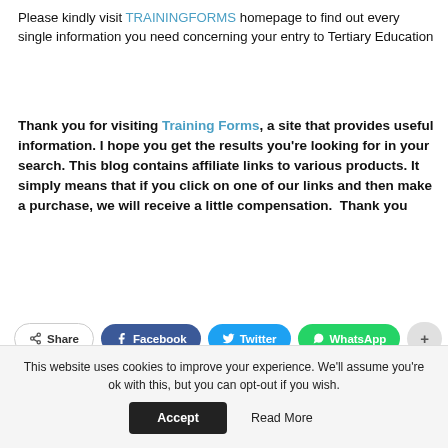Please kindly visit TRAININGFORMS homepage to find out every single information you need concerning your entry to Tertiary Education
Thank you for visiting Training Forms, a site that provides useful information. I hope you get the results you're looking for in your search. This blog contains affiliate links to various products. It simply means that if you click on one of our links and then make a purchase, we will receive a little compensation.  Thank you
Share  Facebook  Twitter  WhatsApp  +
This website uses cookies to improve your experience. We'll assume you're ok with this, but you can opt-out if you wish. Accept  Read More